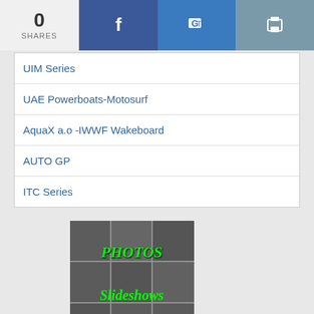0 SHARES | Facebook | Google+ | Print
UIM Series
UAE Powerboats-Motosurf
AquaX a.o -IWWF Wakeboard
AUTO GP
ITC Series
[Figure (photo): Photo collage banner with green italic text reading PHOTOS, Slideshows, here!]
•
STROOSSEN ENGLEN asbl
Motorsport Live Results